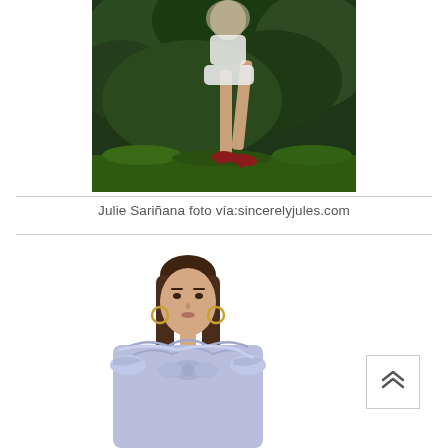[Figure (photo): Outdoor photo showing legs of a person wearing a white dress/skirt and red heels, walking on grass with dark green foliage in the background]
Julie Sariñana foto vía:sincerelyjules.com
[Figure (photo): Fashion photo of a young woman with long brown hair, gold hoop earrings, wearing a lavender/periwinkle off-shoulder ruffle top, photographed from the waist up against a white background]